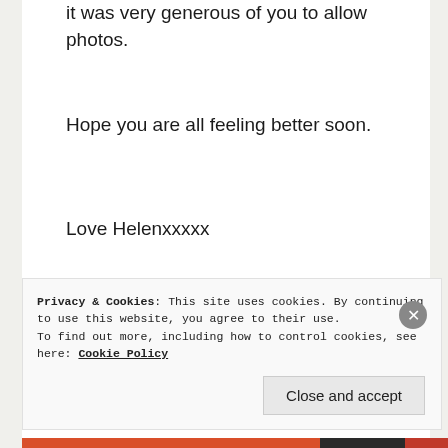it was very generous of you to allow photos.
Hope you are all feeling better soon.
Love Helenxxxxx
Sent from my iPad
>
Privacy & Cookies: This site uses cookies. By continuing to use this website, you agree to their use.
To find out more, including how to control cookies, see here: Cookie Policy
Close and accept